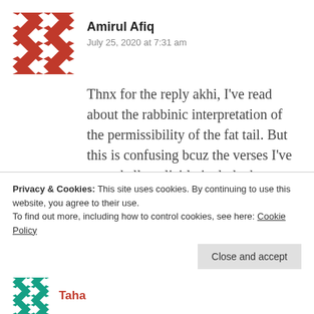[Figure (illustration): Red and white geometric/mosaic pattern avatar for user Amirul Afiq]
Amirul Afiq
July 25, 2020 at 7:31 am
Thnx for the reply akhi, I've read about the rabbinic interpretation of the permissibility of the fat tail. But this is confusing bcuz the verses I've posted all explicitly include the prohibition of the fat tail. Read again Leviticus 3:9 and 3:17
Privacy & Cookies: This site uses cookies. By continuing to use this website, you agree to their use.
To find out more, including how to control cookies, see here: Cookie Policy
Close and accept
[Figure (illustration): Teal and white geometric/mosaic pattern avatar for user Taha]
Taha